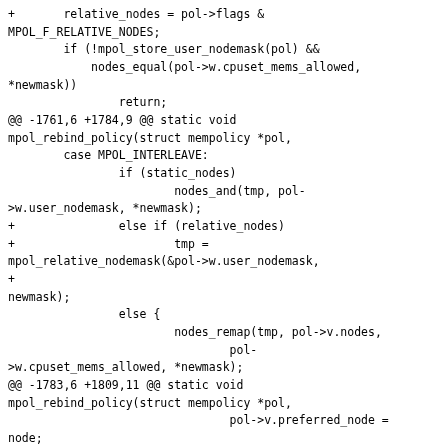+       relative_nodes = pol->flags &
MPOL_F_RELATIVE_NODES;
        if (!mpol_store_user_nodemask(pol) &&
            nodes_equal(pol->w.cpuset_mems_allowed,
*newmask))
                return;
@@ -1761,6 +1784,9 @@ static void
mpol_rebind_policy(struct mempolicy *pol,
        case MPOL_INTERLEAVE:
                if (static_nodes)
                        nodes_and(tmp, pol-
>w.user_nodemask, *newmask);
+               else if (relative_nodes)
+                       tmp =
mpol_relative_nodemask(&pol->w.user_nodemask,
+
newmask);
                else {
                        nodes_remap(tmp, pol->v.nodes,
                                pol-
>w.cpuset_mems_allowed, *newmask);
@@ -1783,6 +1809,11 @@ static void
mpol_rebind_policy(struct mempolicy *pol,
                                pol->v.preferred_node =
node;
                        else
                                pol->v.preferred_node =
-1;
+               } else if (relative_nodes) {
+                       tmp =